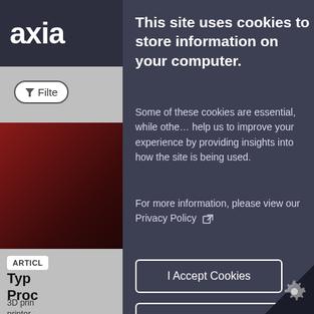This site uses cookies to store information on your computer.
Some of these cookies are essential, while others help us to improve your experience by providing insights into how the site is being used.
For more information, please view our Privacy Policy
I Accept Cookies
I Do Not Accept Cookies
Necessary Cookies